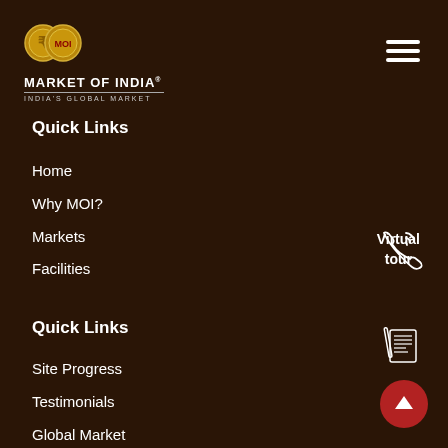[Figure (logo): Market of India logo with two gold coins and text MARKET OF INDIA - INDIA'S GLOBAL MARKET]
[Figure (other): Hamburger menu icon with three horizontal white lines]
Quick Links
Home
Why MOI?
Markets
Facilities
[Figure (other): Phone/call icon with signal waves]
Virtual tour
Quick Links
[Figure (other): Newspaper/newsletter icon]
Site Progress
Testimonials
Global Market